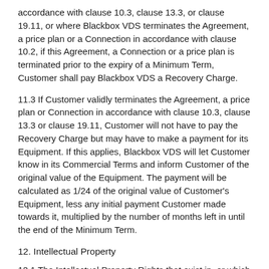accordance with clause 10.3, clause 13.3, or clause 19.11, or where Blackbox VDS terminates the Agreement, a price plan or a Connection in accordance with clause 10.2, if this Agreement, a Connection or a price plan is terminated prior to the expiry of a Minimum Term, Customer shall pay Blackbox VDS a Recovery Charge.
11.3 If Customer validly terminates the Agreement, a price plan or Connection in accordance with clause 10.3, clause 13.3 or clause 19.11, Customer will not have to pay the Recovery Charge but may have to make a payment for its Equipment. If this applies, Blackbox VDS will let Customer know in its Commercial Terms and inform Customer of the original value of the Equipment. The payment will be calculated as 1/24 of the original value of Customer's Equipment, less any initial payment Customer made towards it, multiplied by the number of months left in until the end of the Minimum Term.
12. Intellectual Property
12.1 The Intellectual Property Rights that exist in, or which are created by Blackbox VDS during the provision of the Services, Software and Equipment, are owned by Blackbox VDS or its